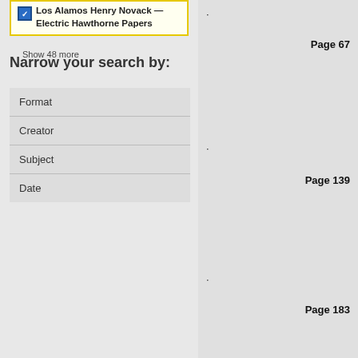Los Alamos Henry Novack Electric Hawthorne Papers
Show 48 more
Narrow your search by:
Format
Creator
Subject
Date
Page 67
Page 139
Page 183
Page 203
Page 208